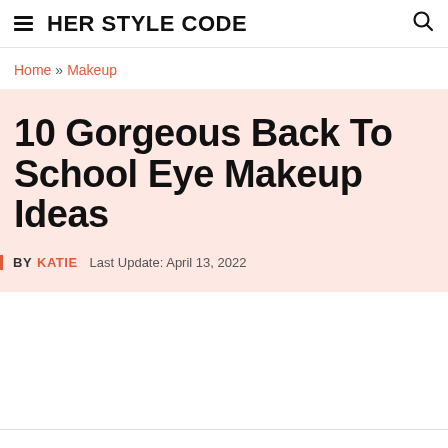HER STYLE CODE
Home » Makeup
10 Gorgeous Back To School Eye Makeup Ideas
BY KATIE  Last Update: April 13, 2022